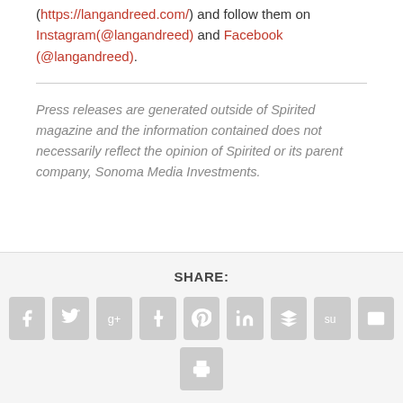(https://langandreed.com/) and follow them on Instagram(@langandreed) and Facebook (@langandreed).
Press releases are generated outside of Spirited magazine and the information contained does not necessarily reflect the opinion of Spirited or its parent company, Sonoma Media Investments.
SHARE:
[Figure (infographic): Social share icon buttons: Facebook, Twitter, Google+, Tumblr, Pinterest, LinkedIn, Buffer, StumbleUpon, Email, Print]